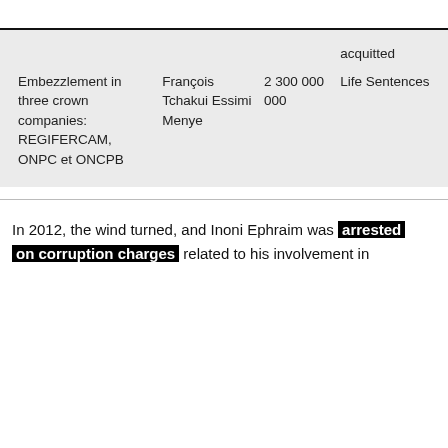| Offense | Person | Amount | Sentence |
| --- | --- | --- | --- |
|  |  |  | acquitted |
| Embezzlement in three crown companies: REGIFERCAM, ONPC et ONCPB | François Tchakui Essimi Menye | 2 300 000 000 | Life Sentences |
In 2012, the wind turned, and Inoni Ephraim was arrested on corruption charges related to his involvement in [cut off]